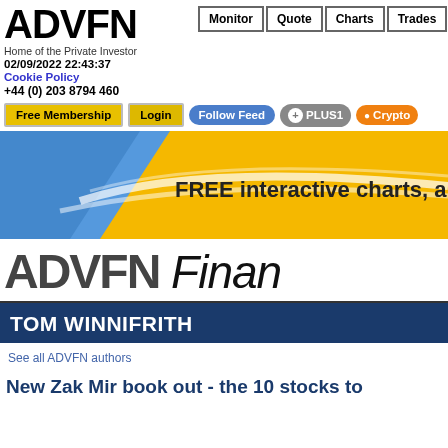[Figure (logo): ADVFN logo - bold black text]
Home of the Private Investor
02/09/2022 22:43:37
Cookie Policy
+44 (0) 203 8794 460
Monitor | Quote | Charts | Trades
Free Membership  Login  Follow Feed  +1 PLUS1  Crypto
[Figure (illustration): ADVFN banner with blue and yellow/gold background and text: FREE interactive charts, analy...]
[Figure (logo): ADVFN Finance logo in large bold italic text]
TOM WINNIFRITH
See all ADVFN authors
New Zak Mir book out - the 10 stocks to...